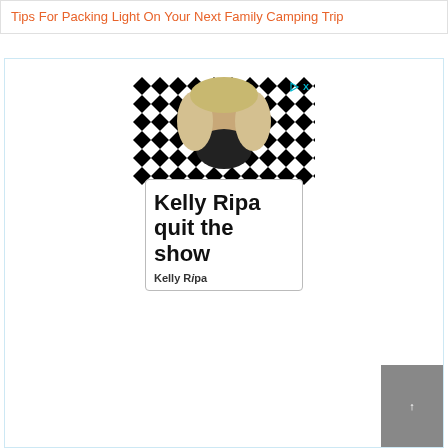Tips For Packing Light On Your Next Family Camping Trip
[Figure (screenshot): Advertisement screenshot showing a woman with blonde wavy hair against a black-and-white geometric diamond pattern background, with a text overlay card reading 'Kelly Ripa quit the show' and source attribution 'Kelly Ripa' below]